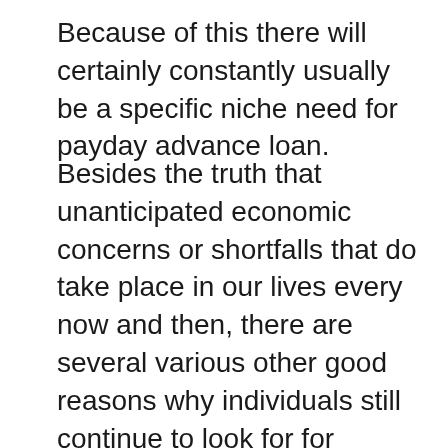Because of this there will certainly constantly usually be a specific niche need for payday advance loan.
Besides the truth that unanticipated economic concerns or shortfalls that do take place in our lives every now and then, there are several various other good reasons why individuals still continue to look for for payday advance loan. One alternative to short-term financing using payday advance loan is to utilize charge card. Although bank card are a valuable means of payment, there are many areas that just approve cash settlements and do not approve charge card. For this reason money is still king so if you live and operate in Australia you will still require physical cash money to manage. Fortunately is that in Australia you will not have a tough time looking for a respectable payday advance loan lending institution that will certainly supply you a finance when you require